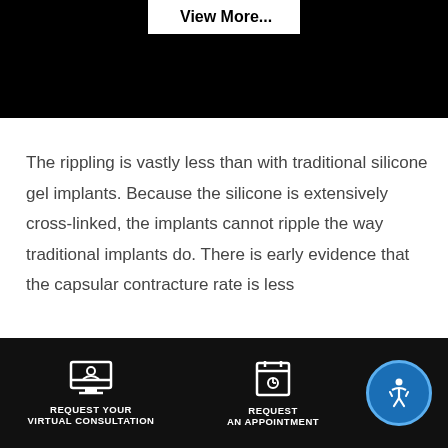[Figure (other): Black background banner at top of page with a 'View More...' button in white]
The rippling is vastly less than with traditional silicone gel implants. Because the silicone is extensively cross-linked, the implants cannot ripple the way traditional implants do. There is early evidence that the capsular contracture rate is less
REQUEST YOUR VIRTUAL CONSULTATION | REQUEST AN APPOINTMENT | Accessibility button